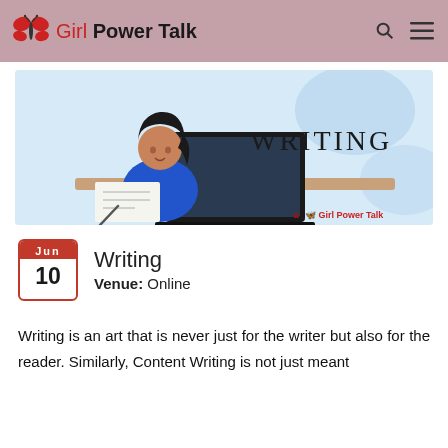Girl Power Talk
[Figure (illustration): Banner illustration showing a woman in blue writing on paper next to a laptop, with 'WRITING' text on the right and Girl Power Talk logo, on a light blue background.]
Writing
Venue: Online
Writing is an art that is never just for the writer but also for the reader. Similarly, Content Writing is not just meant